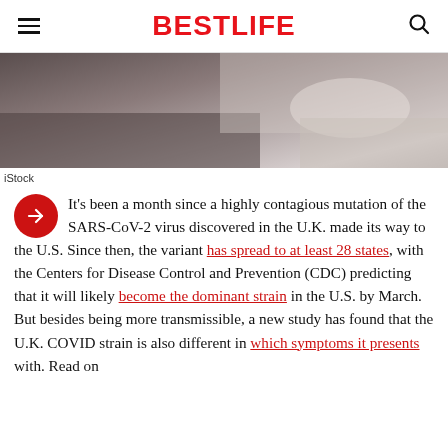BestLife
[Figure (photo): Blurred photo of a person sick in bed with tissues and objects on a surface, muted tones]
iStock
It's been a month since a highly contagious mutation of the SARS-CoV-2 virus discovered in the U.K. made its way to the U.S. Since then, the variant has spread to at least 28 states, with the Centers for Disease Control and Prevention (CDC) predicting that it will likely become the dominant strain in the U.S. by March. But besides being more transmissible, a new study has found that the U.K. COVID strain is also different in which symptoms it presents with. Read on